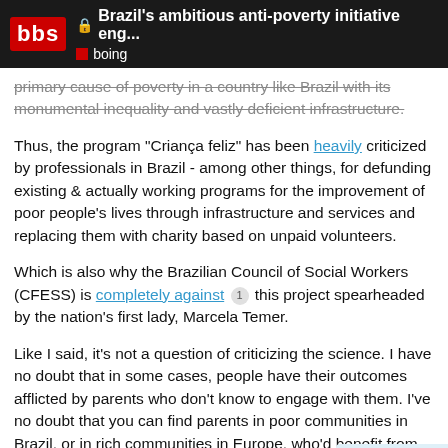Brazil's ambitious anti-poverty initiative eng... boing
primary cause of poverty in a country like Brazil with its monumental inequality and vastly deficient infrastructure.
Thus, the program “Criança feliz” has been heavily criticized by professionals in Brazil - among other things, for defunding existing & actually working programs for the improvement of poor people’s lives through infrastructure and services and replacing them with charity based on unpaid volunteers.
Which is also why the Brazilian Council of Social Workers (CFESS) is completely against [1] this project spearheaded by the nation’s first lady, Marcela Temer.
Like I said, it’s not a question of criticizing the science. I have no doubt that in some cases, people have their outcomes afflicted by parents who don’t know to engage with them. I’ve no doubt that you can find parents in poor communities in Brazil, or in rich communities in Europe, who’d benefit from such coaching. However, to posit such parental engagement as the reason for poverty in a country like Brazil,
18 / 21